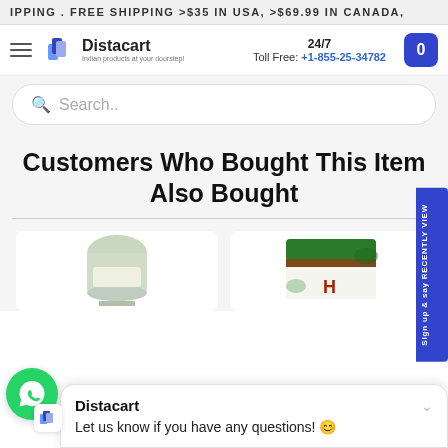IPPING . FREE SHIPPING >$35 IN USA, >$69.99 IN CANADA,
[Figure (logo): Distacart logo with shopping bag icon and tagline 'Indian products at your doorstep!']
24/7 Toll Free: +1-855-25-34782
Search..
Customers Who Bought This Item Also Bought
[Figure (photo): White cream/lotion bottle product thumbnail]
[Figure (photo): Green and white packaged Indian product thumbnail]
Sign up & say RECENTLY VIEW
Distacart
Let us know if you have any questions! 😊